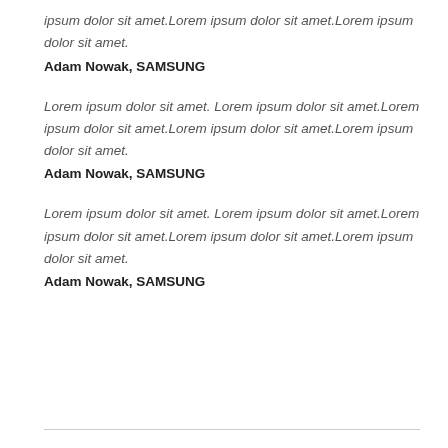ipsum dolor sit amet.Lorem ipsum dolor sit amet.Lorem ipsum dolor sit amet.
Adam Nowak, SAMSUNG
Lorem ipsum dolor sit amet. Lorem ipsum dolor sit amet.Lorem ipsum dolor sit amet.Lorem ipsum dolor sit amet.Lorem ipsum dolor sit amet.
Adam Nowak, SAMSUNG
Lorem ipsum dolor sit amet. Lorem ipsum dolor sit amet.Lorem ipsum dolor sit amet.Lorem ipsum dolor sit amet.Lorem ipsum dolor sit amet.
Adam Nowak, SAMSUNG